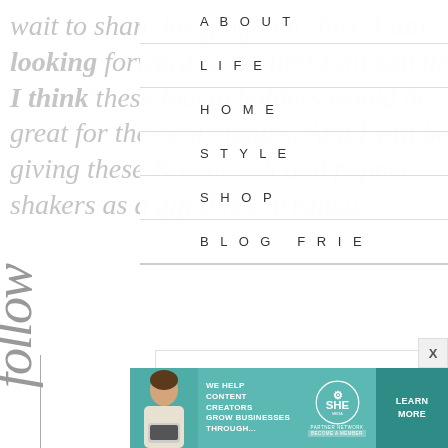wait to share his gingham shirt. I am looking forward to my first Fall candle. I think these looma holders would be great for the cool months. And I will be giving these are & over salt and pepper shakers as a gift this Christmas.
ABOUT
LIFE
HOME
STYLE
SHOP
BLOG FRIE
[Figure (illustration): Cursive 'follow' script text rotated vertically on the left side of the page]
[Figure (infographic): Advertisement banner: SHE Media Partner Network - We help content creators grow businesses through... with Learn More CTA button and a woman with laptop photo]